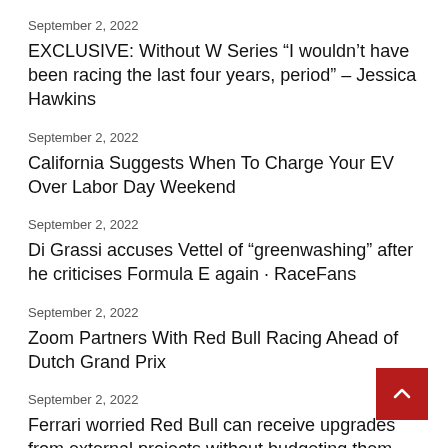September 2, 2022
EXCLUSIVE: Without W Series “I wouldn’t have been racing the last four years, period” – Jessica Hawkins
September 2, 2022
California Suggests When To Charge Your EV Over Labor Day Weekend
September 2, 2022
Di Grassi accuses Vettel of “greenwashing” after he criticises Formula E again · RaceFans
September 2, 2022
Zoom Partners With Red Bull Racing Ahead of Dutch Grand Prix
September 2, 2022
Ferrari worried Red Bull can receive upgrades from external projects without budgeting them
September 2, 2022